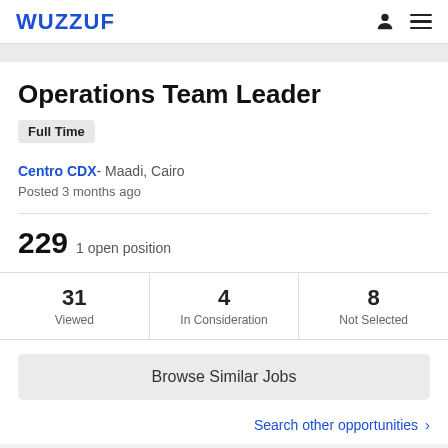WUZZUF
Operations Team Leader
Full Time
Centro CDX- Maadi, Cairo
Posted 3 months ago
229  1 open position
| Viewed | In Consideration | Not Selected |
| --- | --- | --- |
| 31 | 4 | 8 |
Browse Similar Jobs
Search other opportunities